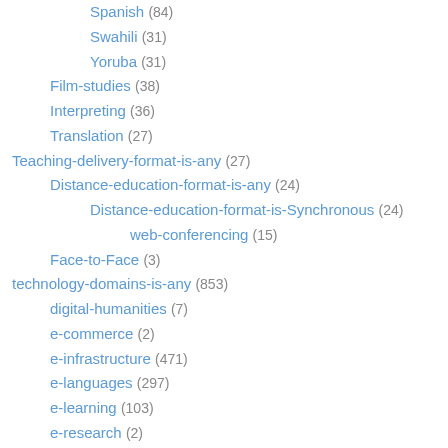Spanish (84)
Swahili (31)
Yoruba (31)
Film-studies (38)
Interpreting (36)
Translation (27)
Teaching-delivery-format-is-any (27)
Distance-education-format-is-any (24)
Distance-education-format-is-Synchronous (24)
web-conferencing (15)
Face-to-Face (3)
technology-domains-is-any (853)
digital-humanities (7)
e-commerce (2)
e-infrastructure (471)
e-languages (297)
e-learning (103)
e-research (2)
Uncategorized (38)